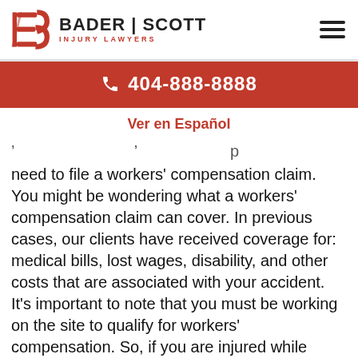[Figure (logo): Bader Scott Injury Lawyers logo with red B monogram and firm name]
404-888-8888
Ver en Español
need to file a workers' compensation claim. You might be wondering what a workers' compensation claim can cover. In previous cases, our clients have received coverage for: medical bills, lost wages, disability, and other costs that are associated with your accident. It's important to note that you must be working on the site to qualify for workers' compensation. So, if you are injured while walking through a construction area, you are